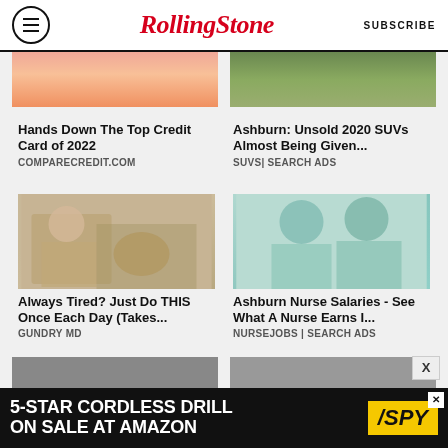RollingStone  SUBSCRIBE
[Figure (photo): Top partial image - pink/orange background person]
[Figure (photo): Top partial image - car on grassy hill]
Hands Down The Top Credit Card of 2022
COMPARECREDIT.COM
Ashburn: Unsold 2020 SUVs Almost Being Given...
SUVS| SEARCH ADS
[Figure (photo): Doctor pointing at skin with patient - Always Tired ad]
[Figure (photo): Two nurses smiling in scrubs and caps]
Always Tired? Just Do THIS Once Each Day (Takes...
GUNDRY MD
Ashburn Nurse Salaries - See What A Nurse Earns I...
NURSEJOBS | SEARCH ADS
[Figure (photo): Partial bottom images cut off]
[Figure (photo): Partial bottom right image cut off]
[Figure (infographic): Bottom banner ad: 5-STAR CORDLESS DRILL ON SALE AT AMAZON - SPY]